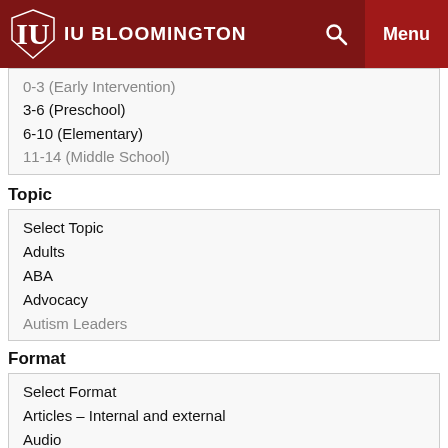IU BLOOMINGTON
0-3 (Early Intervention)
3-6 (Preschool)
6-10 (Elementary)
11-14 (Middle School)
Topic
Select Topic
Adults
ABA
Advocacy
Autism Leaders
Format
Select Format
Articles – Internal and external
Audio
Flowcharts
Images/visual resources
Title/Keywords
Search